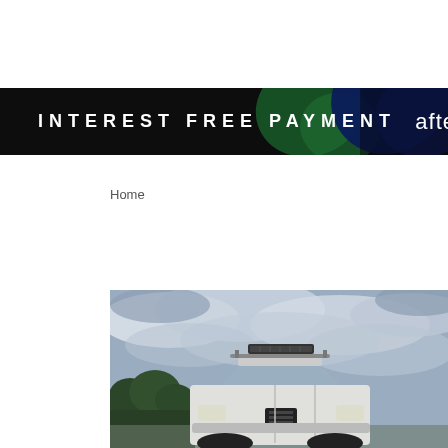[Figure (screenshot): Dark banner advertisement with abstract green and blue shapes on a dark/black background, showing white bold uppercase text 'INTEREST FREE PAYMENT' and partial afterpay logo/text 'afte' on the right side]
Home
[Figure (photo): Photo of a vehicle (SUV/truck) seen from the front, with a light bar mounted on the roof rack. Dark green trees are visible on the lower left and a dramatic cloudy sky fills most of the background.]